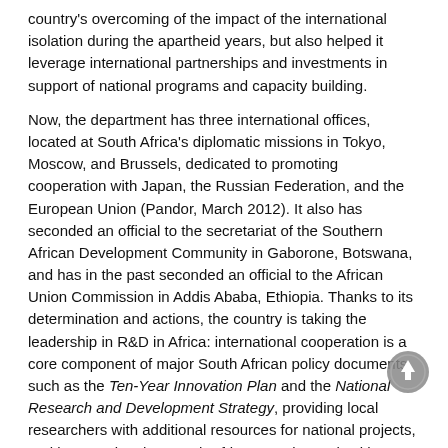country's overcoming of the impact of the international isolation during the apartheid years, but also helped it leverage international partnerships and investments in support of national programs and capacity building.
Now, the department has three international offices, located at South Africa's diplomatic missions in Tokyo, Moscow, and Brussels, dedicated to promoting cooperation with Japan, the Russian Federation, and the European Union (Pandor, March 2012). It also has seconded an official to the secretariat of the Southern African Development Community in Gaborone, Botswana, and has in the past seconded an official to the African Union Commission in Addis Ababa, Ethiopia. Thanks to its determination and actions, the country is taking the leadership in R&D in Africa: international cooperation is a core component of major South African policy documents such as the Ten-Year Innovation Plan and the National Research and Development Strategy, providing local researchers with additional resources for national projects, and by ensuring that South Africa stays in touch with cutting-edge global developments, it is a powerful vehicle for developing, attracting, and retaining human capital. “The growing importance of the science content of critical foreign policy issues has necessitated that the South African government pursue concerted science diplomacy strategy[2].” says Naledi Pandor, S.A. Minister of Science and Tech. In short, the answer is YES; and South Africa has proved it!